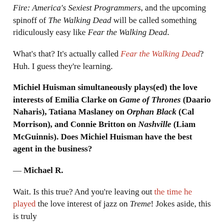Fire: America's Sexiest Programmers, and the upcoming spinoff of The Walking Dead will be called something ridiculously easy like Fear the Walking Dead.
What's that? It's actually called Fear the Walking Dead? Huh. I guess they're learning.
Michiel Huisman simultaneously plays(ed) the love interests of Emilia Clarke on Game of Thrones (Daario Naharis), Tatiana Maslaney on Orphan Black (Cal Morrison), and Connie Britton on Nashville (Liam McGuinnis). Does Michiel Huisman have the best agent in the business?
— Michael R.
Wait. Is this true? And you're leaving out the time he played the love interest of jazz on Treme! Jokes aside, this is truly